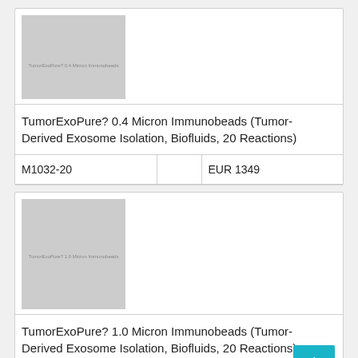[Figure (photo): Product image placeholder for TumorExoPure 0.4 Micron Immunobeads, gray rectangle with watermark text]
TumorExoPure? 0.4 Micron Immunobeads (Tumor-Derived Exosome Isolation, Biofluids, 20 Reactions)
| M1032-20 |  | EUR 1349 |
[Figure (photo): Product image placeholder for TumorExoPure 1.0 Micron Immunobeads, gray rectangle with watermark text]
TumorExoPure? 1.0 Micron Immunobeads (Tumor-Derived Exosome Isolation, Biofluids, 20 Reactions)
| M1033-20 |  | EUR 1349 |